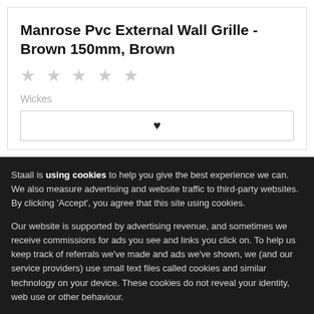Manrose Pvc External Wall Grille - Brown 150mm, Brown
★ ★ ★ ★ ★ (empty stars rating)
Wickes
♥ (wishlist button)
Staall is using cookies to help you give the best experience we can. We also measure advertising and website traffic to third-party websites. By clicking 'Accept', you agree that this site using cookies.
Our website is supported by advertising revenue, and sometimes we receive commissions for ads you see and links you click on. To help us keep track of referrals we've made and ads we've shown, we (and our service providers) use small text files called cookies and similar technology on your device. These cookies do not reveal your identity, web use or other behaviour.
If you do not want cookies to be used, you can click the "Decline" button, but it may have an impact on the way you experience our website and others. Accept  Decline